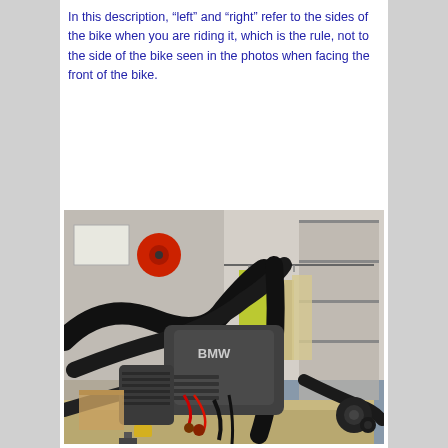In this description, “left” and “right” refer to the sides of the bike when you are riding it, which is the rule, not to the side of the bike seen in the photos when facing the front of the bike.
[Figure (photo): A BMW motorcycle frame and engine assembly on a workbench in a garage/workshop setting. The frame tubes and boxer engine with BMW logo are visible in the foreground, with workshop items including clothing on a rack and shelving in the background.]